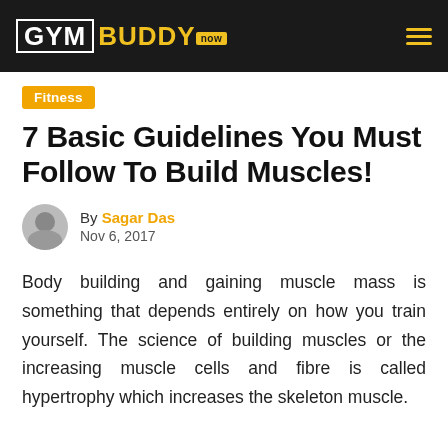GYM BUDDY now
Fitness
7 Basic Guidelines You Must Follow To Build Muscles!
By Sagar Das
Nov 6, 2017
Body building and gaining muscle mass is something that depends entirely on how you train yourself. The science of building muscles or the increasing muscle cells and fibre is called hypertrophy which increases the skeleton muscle.